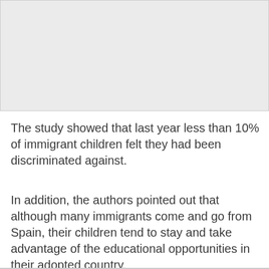[Figure (other): Gray rectangular image placeholder at the top of the page]
The study showed that last year less than 10% of immigrant children felt they had been discriminated against.
In addition, the authors pointed out that although many immigrants come and go from Spain, their children tend to stay and take advantage of the educational opportunities in their adopted country.